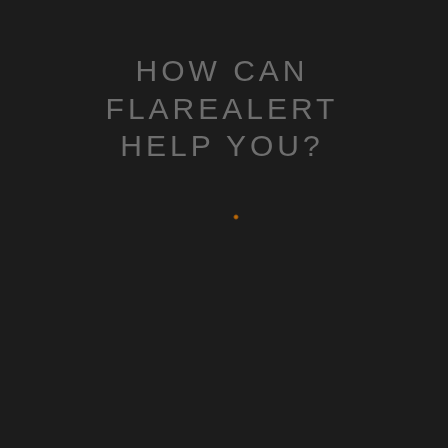HOW CAN FLAREALERT HELP YOU?
[Figure (other): Small orange/amber glowing dot centered in the lower-middle area of the dark background]